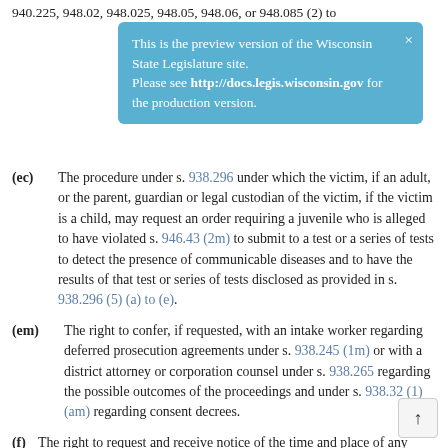940.225, 948.02, 948.025, 948.05, 948.06, or 948.085 (2) to
This is the preview version of the Wisconsin State Legislature site. Please see http://docs.legis.wisconsin.gov for the production version.
(ec) The procedure under s. 938.296 under which the victim, if an adult, or the parent, guardian or legal custodian of the victim, if the victim is a child, may request an order requiring a juvenile who is alleged to have violated s. 946.43 (2m) to submit to a test or a series of tests to detect the presence of communicable diseases and to have the results of that test or series of tests disclosed as provided in s. 938.296 (5) (a) to (e).
(em) The right to confer, if requested, with an intake worker regarding deferred prosecution agreements under s. 938.245 (1m) or with a district attorney or corporation counsel under s. 938.265 regarding the possible outcomes of the proceedings and under s. 938.32 (1) (am) regarding consent decrees.
(f) The right to request and receive notice of the time and place of any hearing that the victim may attend under s. 938.299 (1) (am).
(fm) All of the following:
1. The right to a separate waiting area as provided under s.